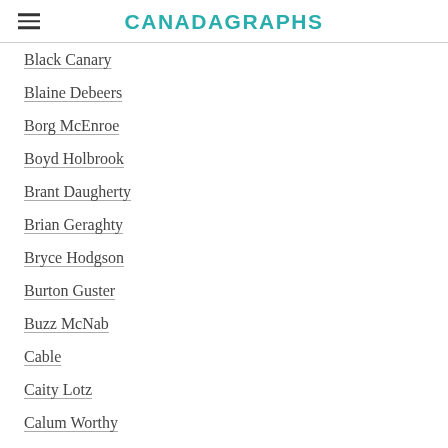CANADAGRAPHS
Black Canary
Blaine Debeers
Borg McEnroe
Boyd Holbrook
Brant Daugherty
Brian Geraghty
Bryce Hodgson
Burton Guster
Buzz McNab
Cable
Caity Lotz
Calum Worthy
Camila Mendes
Candice Patton